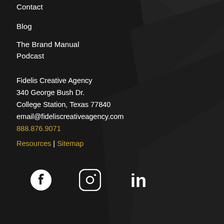Contact
Blog
The Brand Manual Podcast
Fidelis Creative Agency
340 George Bush Dr.
College Station, Texas 77840
email@fideliscreativeagency.com
888.876.9071
Resources | Sitemap
[Figure (infographic): Social media icons: Facebook, Instagram, LinkedIn in white on dark background]